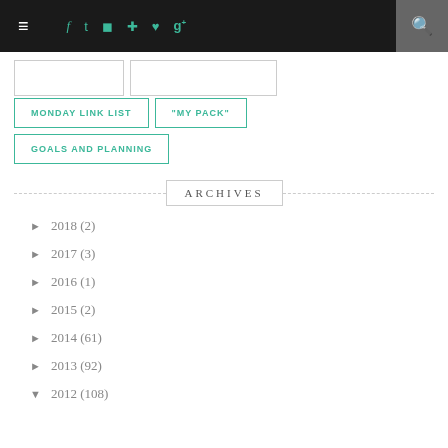Navigation bar with hamburger menu, social icons (f, t, camera, Pinterest, heart, g+), and search
MONDAY LINK LIST
"MY PACK"
GOALS AND PLANNING
ARCHIVES
► 2018 (2)
► 2017 (3)
► 2016 (1)
► 2015 (2)
► 2014 (61)
► 2013 (92)
▼ 2012 (108)